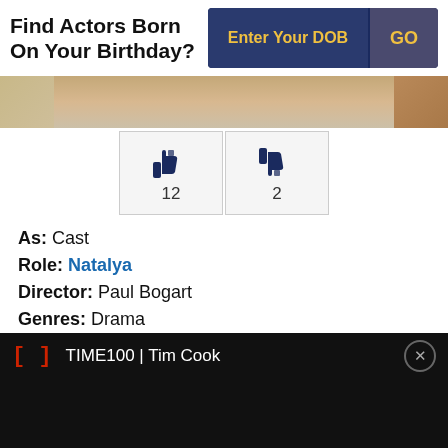Find Actors Born On Your Birthday?
Enter Your DOB
GO
[Figure (photo): Partial photo visible at top, cropped]
[Figure (infographic): Thumbs up icon with count 12, thumbs down icon with count 2]
As: Cast
Role: Natalya
Director: Paul Bogart
Genres: Drama
Star Cast: Geraldine Page, Kevin McCarthy, Kim Stanley, Sandy Dennis
TIME100 | Tim Cook